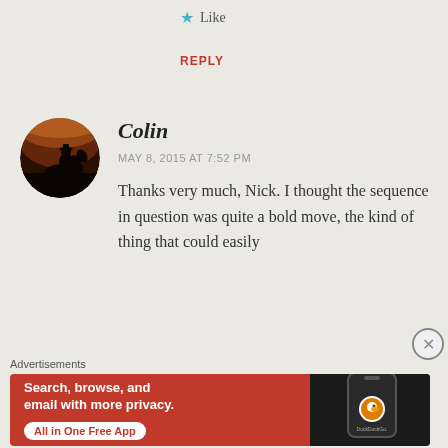★ Like
REPLY
[Figure (photo): Circular avatar image showing silhouette of a person on horseback against a dramatic sunset/dark sky background]
Colin
MAY 8, 2015 AT 7:52 PM
Thanks very much, Nick. I thought the sequence in question was quite a bold move, the kind of thing that could easily
Advertisements
[Figure (infographic): DuckDuckGo advertisement banner with orange/red background. Text: Search, browse, and email with more privacy. All in One Free App. Shows phone mockup with DuckDuckGo logo.]